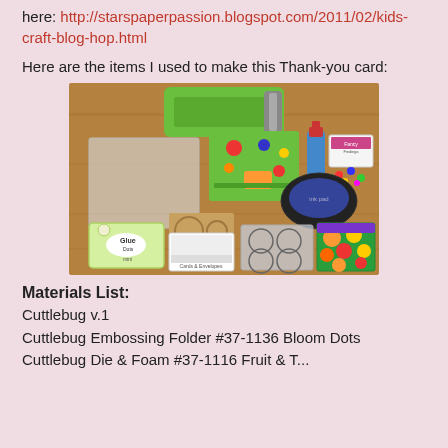here: http://starspaperpassion.blogspot.com/2011/02/kids-craft-blog-hop.html
Here are the items I used to make this Thank-you card:
[Figure (photo): Photo of craft supplies laid out on a wooden surface, including a Cuttlebug machine, embossing folders, stamp set, glue dots, cards and envelopes, ink pad, stickers, and other card-making materials.]
Materials List:
Cuttlebug v.1
Cuttlebug Embossing Folder #37-1136 Bloom Dots
Cuttlebug Die & Foam #37-1116 Fruit & T...